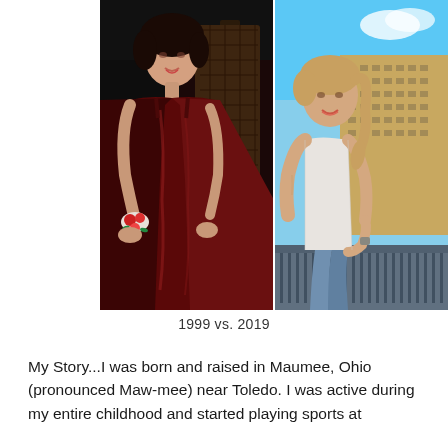[Figure (photo): Side-by-side comparison photos: left photo (1999) shows a young woman in a dark red/maroon formal gown with a floral wrist corsage, standing near a railing; right photo (2019) shows an adult woman in a white sleeveless top and blue leggings, standing on a balcony with a cityscape (hotel/casino building) and blue sky behind her.]
1999 vs. 2019
My Story...I was born and raised in Maumee, Ohio (pronounced Maw-mee) near Toledo.   I was active during my entire childhood and started playing sports at